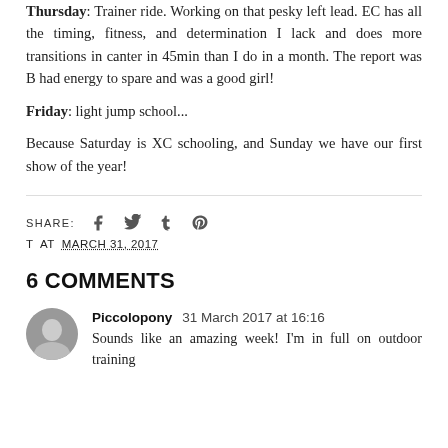Thursday: Trainer ride. Working on that pesky left lead. EC has all the timing, fitness, and determination I lack and does more transitions in canter in 45min than I do in a month. The report was B had energy to spare and was a good girl!
Friday: light jump school...
Because Saturday is XC schooling, and Sunday we have our first show of the year!
SHARE: [social icons]
T AT MARCH 31, 2017
6 COMMENTS
Piccolopony 31 March 2017 at 16:16
Sounds like an amazing week! I'm in full on outdoor training